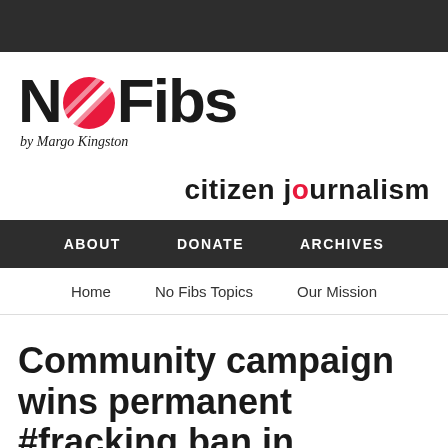[Figure (logo): NoFibs logo with red circle containing diagonal lines replacing the letter O, by Margo Kingston]
citizen journalism
ABOUT   DONATE   ARCHIVES
Home   No Fibs Topics   Our Mission
Community campaign wins permanent #fracking ban in